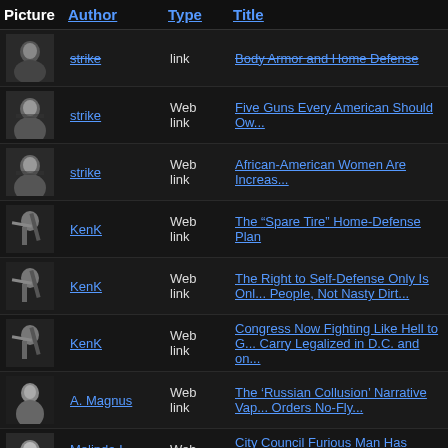| Picture | Author | Type | Title |
| --- | --- | --- | --- |
| [img] | strike | link | Body Armor and Home Defense |
| [img] | strike | Web link | Five Guns Every American Should Ow... |
| [img] | strike | Web link | African-American Women Are Increas... |
| [img] | KenK | Web link | The "Spare Tire" Home-Defense Plan |
| [img] | KenK | Web link | The Right to Self-Defense Only Is Onl... People, Not Nasty Dirt... |
| [img] | KenK | Web link | Congress Now Fighting Like Hell to G... Carry Legalized in D.C. and on... |
| [img] | A. Magnus | Web link | The 'Russian Collusion' Narrative Vap... Orders No-Fly... |
| [img] | Melinda L. Soser... | Web link | City Council Furious Man Has Enoug... Them From Stealing His Land... |